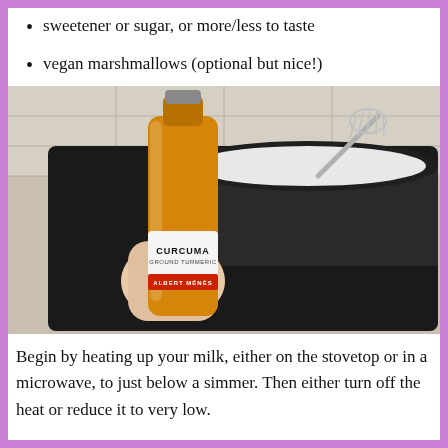sweetener or sugar, or more/less to taste
vegan marshmallows (optional but nice!)
[Figure (photo): A hand holding a glass jar of Albert Ménès Curcuma (Ground Turmeric) spice in front of a black pot with milk and a whisk on a stovetop induction cooker.]
Begin by heating up your milk, either on the stovetop or in a microwave, to just below a simmer. Then either turn off the heat or reduce it to very low.